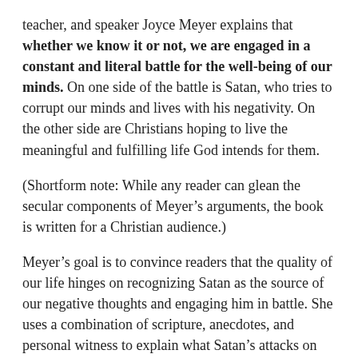teacher, and speaker Joyce Meyer explains that whether we know it or not, we are engaged in a constant and literal battle for the well-being of our minds. On one side of the battle is Satan, who tries to corrupt our minds and lives with his negativity. On the other side are Christians hoping to live the meaningful and fulfilling life God intends for them.
(Shortform note: While any reader can glean the secular components of Meyer's arguments, the book is written for a Christian audience.)
Meyer's goal is to convince readers that the quality of our life hinges on recognizing Satan as the source of our negative thoughts and engaging him in battle. She uses a combination of scripture, anecdotes, and personal witness to explain what Satan's attacks on our minds look like, their effect on our well-being, and how we can address them. She assures us that we can defeat Satan by cultivating our spirituality and relationship with God.